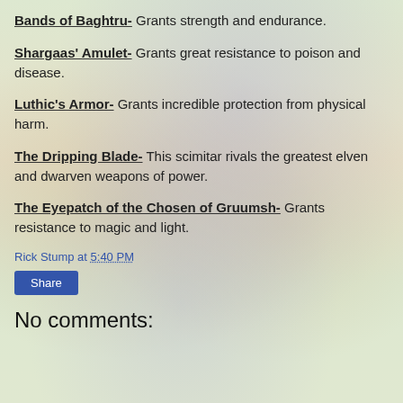Bands of Baghtru- Grants strength and endurance.
Shargaas' Amulet- Grants great resistance to poison and disease.
Luthic's Armor- Grants incredible protection from physical harm.
The Dripping Blade- This scimitar rivals the greatest elven and dwarven weapons of power.
The Eyepatch of the Chosen of Gruumsh- Grants resistance to magic and light.
Rick Stump at 5:40 PM
Share
No comments: